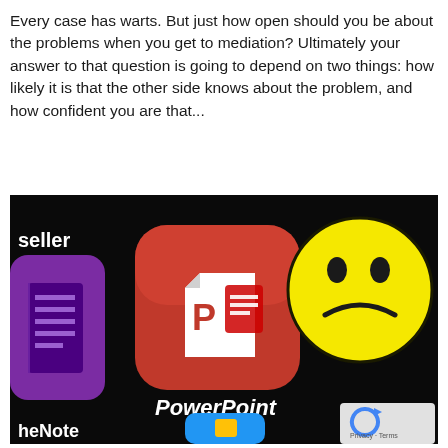Every case has warts.  But just how open should you be about the problems when you get to mediation? Ultimately your answer to that question is going to depend on two things: how likely it is that the other side knows about the problem, and how confident you are that...
[Figure (photo): Photo of smartphone apps on a dark background showing Microsoft OneNote (purple icon), Microsoft PowerPoint (red icon with P), and a yellow sad face emoji icon. Text 'seller', 'PowerPoint', and 'heNote' visible. Bottom right shows a Google reCAPTCHA logo watermark with 'Privacy · Terms' text.]